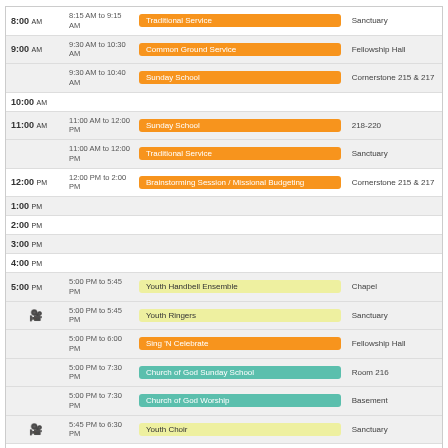| Time | Time Range | Event | Location |
| --- | --- | --- | --- |
| 8:00 AM | 8:15 AM to 9:15 AM | Traditional Service | Sanctuary |
| 9:00 AM | 9:30 AM to 10:30 AM | Common Ground Service | Fellowship Hall |
|  | 9:30 AM to 10:40 AM | Sunday School | Cornerstone 215 & 217 |
| 10:00 AM |  |  |  |
| 11:00 AM | 11:00 AM to 12:00 PM | Sunday School | 218-220 |
|  | 11:00 AM to 12:00 PM | Traditional Service | Sanctuary |
| 12:00 PM | 12:00 PM to 2:00 PM | Brainstorming Session / Missional Budgeting | Cornerstone 215 & 217 |
| 1:00 PM |  |  |  |
| 2:00 PM |  |  |  |
| 3:00 PM |  |  |  |
| 4:00 PM |  |  |  |
| 5:00 PM | 5:00 PM to 5:45 PM | Youth Handbell Ensemble | Chapel |
|  | 5:00 PM to 5:45 PM | Youth Ringers | Sanctuary |
|  | 5:00 PM to 6:00 PM | Sing 'N Celebrate | Fellowship Hall |
|  | 5:00 PM to 7:30 PM | Church of God Sunday School | Room 216 |
|  | 5:00 PM to 7:30 PM | Church of God Worship | Basement |
|  | 5:45 PM to 6:30 PM | Youth Choir | Sanctuary |
| 6:00 PM | 6:30 PM to 8:30 PM | Turning Point Youth | Youth room (219 & 221) |